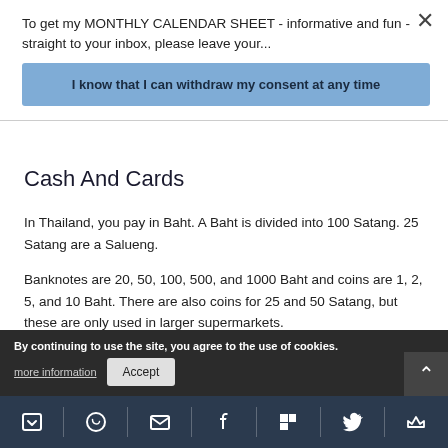To get my MONTHLY CALENDAR SHEET - informative and fun - straight to your inbox, please leave your...
I know that I can withdraw my consent at any time
Cash And Cards
In Thailand, you pay in Baht. A Baht is divided into 100 Satang. 25 Satang are a Salueng.
Banknotes are 20, 50, 100, 500, and 1000 Baht and coins are 1, 2, 5, and 10 Baht. There are also coins for 25 and 50 Satang, but these are only used in larger supermarkets.
It's a very ... h ... ls are
By continuing to use the site, you agree to the use of cookies.
more information
Accept